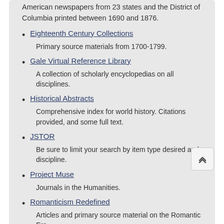American newspapers from 23 states and the District of Columbia printed between 1690 and 1876.
Eighteenth Century Collections
Primary source materials from 1700-1799.
Gale Virtual Reference Library
A collection of scholarly encyclopedias on all disciplines.
Historical Abstracts
Comprehensive index for world history. Citations provided, and some full text.
JSTOR
Be sure to limit your search by item type desired and discipline.
Project Muse
Journals in the Humanities.
Romanticism Redefined
Articles and primary source material on the Romantic Era
Books and E-Books on History and Music History
There are hundreds of books on music history and on